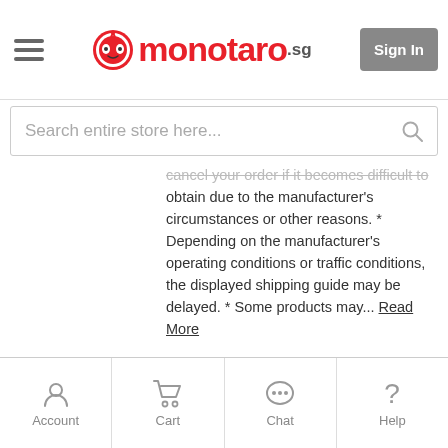monotaro.sg — Sign In
Search entire store here...
cancel your order if it becomes difficult to obtain due to the manufacturer's circumstances or other reasons. * Depending on the manufacturer's operating conditions or traffic conditions, the displayed shipping guide may be delayed. * Some products may... Read More
from S$8.89
Shipping Min. 4 days
See All Products
Account  Cart  Chat  Help